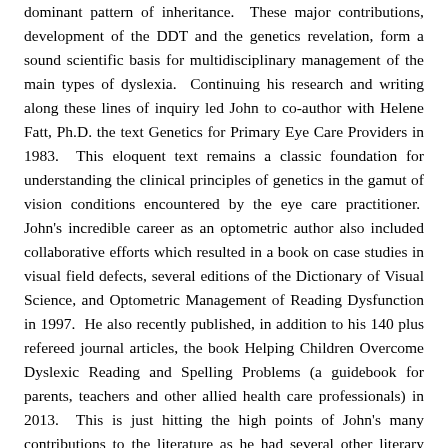dominant pattern of inheritance. These major contributions, development of the DDT and the genetics revelation, form a sound scientific basis for multidisciplinary management of the main types of dyslexia. Continuing his research and writing along these lines of inquiry led John to co-author with Helene Fatt, Ph.D. the text Genetics for Primary Eye Care Providers in 1983. This eloquent text remains a classic foundation for understanding the clinical principles of genetics in the gamut of vision conditions encountered by the eye care practitioner. John's incredible career as an optometric author also included collaborative efforts which resulted in a book on case studies in visual field defects, several editions of the Dictionary of Visual Science, and Optometric Management of Reading Dysfunction in 1997. He also recently published, in addition to his 140 plus refereed journal articles, the book Helping Children Overcome Dyslexic Reading and Spelling Problems (a guidebook for parents, teachers and other allied health care professionals) in 2013. This is just hitting the high points of John's many contributions to the literature as he had several other literary contributions including many that were outside of the optometric area of emphasis.
John lived life to the fullest at work and away from work. He was an